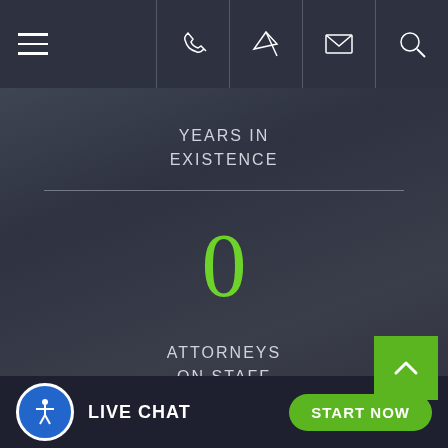Navigation header with hamburger menu and icons: phone, location, email, search
YEARS IN EXISTENCE
0
ATTORNEYS ON STAFF
LIVE CHAT   START NOW